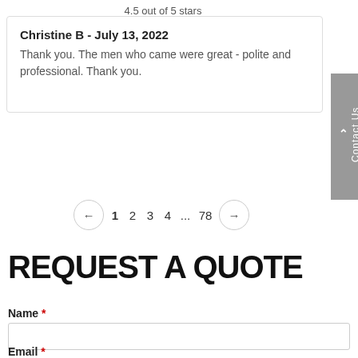4.5 out of 5 stars
Christine B - July 13, 2022
Thank you. The men who came were great - polite and professional. Thank you.
← 1 2 3 4 ... 78 →
REQUEST A QUOTE
Name *
Email *